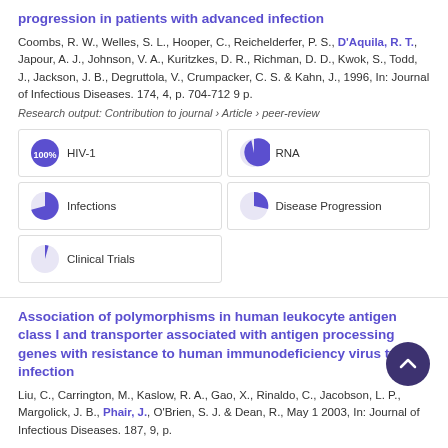progression in patients with advanced infection
Coombs, R. W., Welles, S. L., Hooper, C., Reichelderfer, P. S., D'Aquila, R. T., Japour, A. J., Johnson, V. A., Kuritzkes, D. R., Richman, D. D., Kwok, S., Todd, J., Jackson, J. B., Degruttola, V., Crumpacker, C. S. & Kahn, J., 1996, In: Journal of Infectious Diseases. 174, 4, p. 704-712 9 p.
Research output: Contribution to journal › Article › peer-review
[Figure (infographic): Keyword bubbles: HIV-1 100%, RNA 90%, Infections 60%, Disease Progression 45%, Clinical Trials 15%]
Association of polymorphisms in human leukocyte antigen class I and transporter associated with antigen processing genes with resistance to human immunodeficiency virus type 1 infection
Liu, C., Carrington, M., Kaslow, R. A., Gao, X., Rinaldo, C., Jacobson, L. P., Margolick, J. B., Phair, J., O'Brien, S. J. & Dean, R., May 1 2003, In: Journal of Infectious Diseases. 187, 9, p.